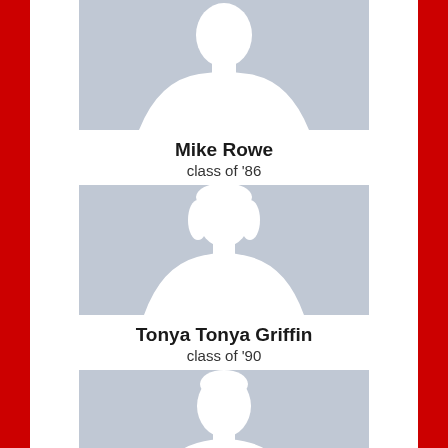[Figure (illustration): Placeholder profile silhouette for male person - Mike Rowe]
Mike Rowe
class of '86
[Figure (illustration): Placeholder profile silhouette for female person - Tonya Tonya Griffin]
Tonya Tonya Griffin
class of '90
[Figure (illustration): Placeholder profile silhouette for female person - Joyce Clay Garrett]
Joyce Clay Garrett
class of '88
[Figure (illustration): Placeholder profile silhouette for a fourth person (partial, bottom of page)]